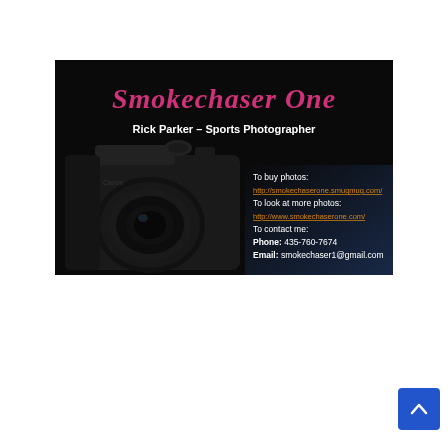[Figure (infographic): Business card for Smokechaser One / Rick Parker – Sports Photographer on a black background. Features large pink/magenta stylized text 'Smokechaser One', white subtitle 'Rick Parker – Sports Photographer', a dark image of a Canon camera with lens on the left half, and contact information on the right: 'To buy photos: http://smokechaserone.smugmug.com/ To look at more photos: http://www.smokechaserone.com/ To contact me: Phone: 435-760-7674 Email: smokechaser1@gmail.com']